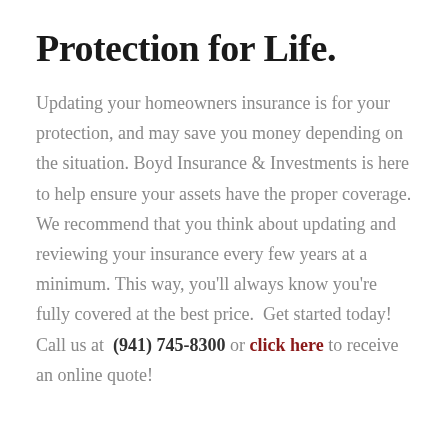Protection for Life.
Updating your homeowners insurance is for your protection, and may save you money depending on the situation. Boyd Insurance & Investments is here to help ensure your assets have the proper coverage. We recommend that you think about updating and reviewing your insurance every few years at a minimum. This way, you'll always know you're fully covered at the best price.  Get started today! Call us at  (941) 745-8300 or click here to receive an online quote!